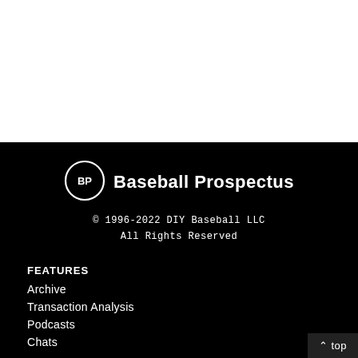[Figure (logo): Baseball Prospectus logo: BP inside a circle followed by 'Baseball Prospectus' in bold white text on black background]
© 1996-2022 DIY Baseball LLC
All Rights Reserved
FEATURES
Archive
Transaction Analysis
Podcasts
Chats
^ top